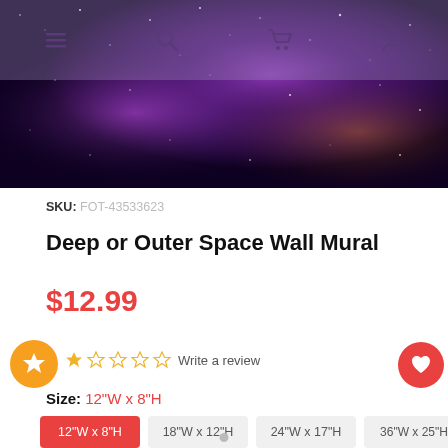Navigation bar with menu, search, cart, and account icons
[Figure (photo): Deep space / galaxy banner image with purple nebula and stars]
SKU: FOT-43533623
Deep or Outer Space Wall Mural
$12.99
Write a review
Size: 12"W x 8"H
12"W x 8"H (selected)
18"W x 12"H
24"W x 17"H
36"W x 25"H
48"W x 33"H
51"W x 36"H